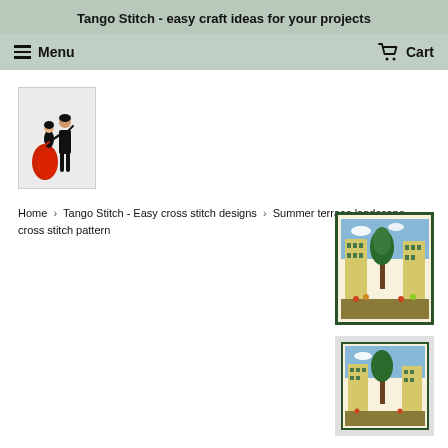Tango Stitch - easy craft ideas for your projects
Menu
Cart
[Figure (logo): Tango Stitch logo: a man and woman dancing tango, man in black suit, woman in red dress, on light gray background]
Home › Tango Stitch - Easy cross stitch designs › Summer terrace landscape cross stitch pattern
[Figure (photo): Cross stitch product image 1: summer terrace landscape pattern in dark green frame, showing colorful garden/terrace scene with trees and buildings]
[Figure (photo): Cross stitch product image 2: same summer terrace landscape pattern, smaller thumbnail view]